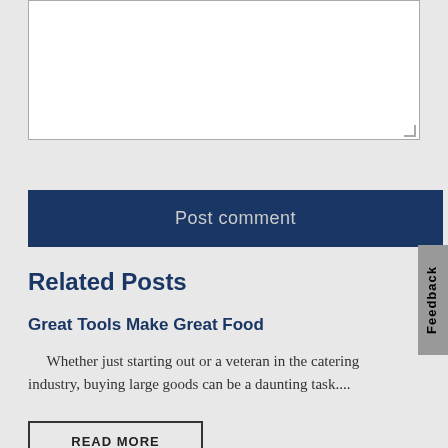[Figure (other): Comment text area input box (white rectangle with border)]
Post comment
Related Posts
Great Tools Make Great Food
Whether just starting out or a veteran in the catering industry, buying large goods can be a daunting task....
READ MORE
Feedback